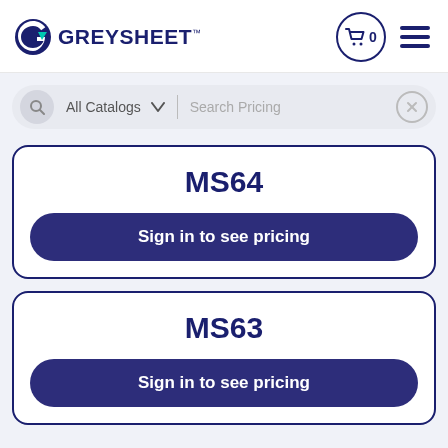[Figure (logo): Greysheet logo with stylized G arrow icon in teal/cyan and dark navy text reading GREYSHEET with TM mark]
[Figure (other): Shopping cart icon with 0 badge inside a circle, and hamburger menu icon]
[Figure (other): Search bar with magnifying glass, All Catalogs dropdown with chevron, Search Pricing placeholder text, and X close button]
MS64
Sign in to see pricing
MS63
Sign in to see pricing